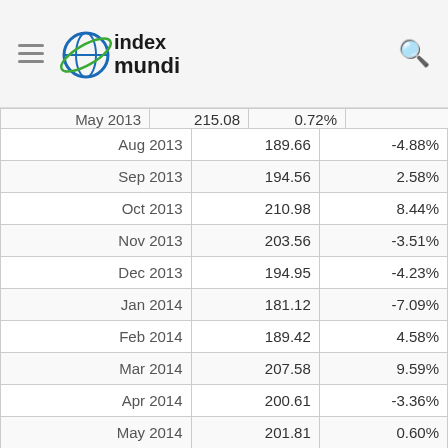index mundi
| Month | Value | Change |
| --- | --- | --- |
| May 2013 | 215.08 | 0.72% |
| Aug 2013 | 189.66 | -4.88% |
| Sep 2013 | 194.56 | 2.58% |
| Oct 2013 | 210.98 | 8.44% |
| Nov 2013 | 203.56 | -3.51% |
| Dec 2013 | 194.95 | -4.23% |
| Jan 2014 | 181.12 | -7.09% |
| Feb 2014 | 189.42 | 4.58% |
| Mar 2014 | 207.58 | 9.59% |
| Apr 2014 | 200.61 | -3.36% |
| May 2014 | 201.81 | 0.60% |
| Jun 2014 | 174.11 | -13.73% |
| Jul 2014 | 161.22 | -7.40% |
| Aug 2014 | 165.49 | 2.65% |
| Sep 2014 | 157.37 | -4.91% |
| Oct 2014 | 173.72 | 10.39% |
| Nov 2014 | 189.99 | 9.35% |